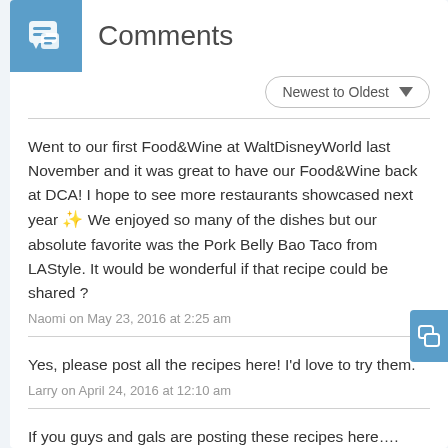Comments
Went to our first Food&Wine at WaltDisneyWorld last November and it was great to have our Food&Wine back at DCA! I hope to see more restaurants showcased next year ✨ We enjoyed so many of the dishes but our absolute favorite was the Pork Belly Bao Taco from LAStyle. It would be wonderful if that recipe could be shared ?
Naomi on May 23, 2016 at 2:25 am
Yes, please post all the recipes here! I'd love to try them.
Larry on April 24, 2016 at 12:10 am
If you guys and gals are posting these recipes here….
Is there any chance you can post the Triple Mac n' Cheese w/ Chicken and its Breadcrumbs/topper!? The recipe cards are